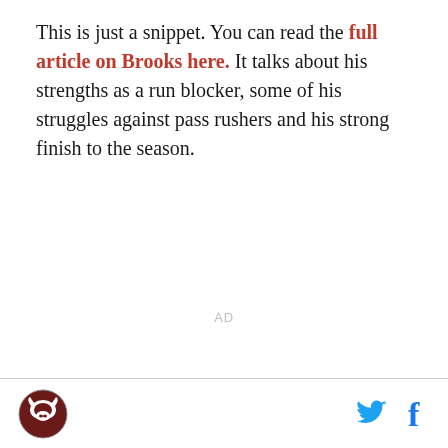This is just a snippet. You can read the full article on Brooks here. It talks about his strengths as a run blocker, some of his struggles against pass rushers and his strong finish to the season.
AD
[logo] [twitter icon] [facebook icon]